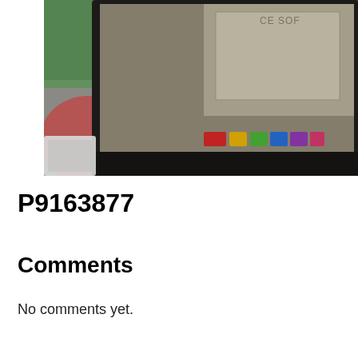[Figure (photo): A blurry close-up photograph of a laptop computer screen showing colorful interface elements including red, yellow, green, and blue/purple colored tabs or buttons. A white device (possibly a phone or card) is partially visible in the lower left. Green and red shapes are visible on the left side background.]
P9163877
Comments
No comments yet.